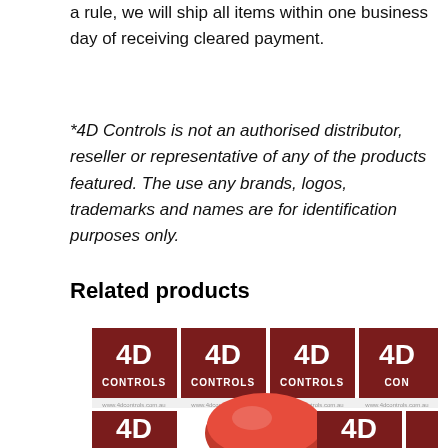a rule, we will ship all items within one business day of receiving cleared payment.
*4D Controls is not an authorised distributor, reseller or representative of any of the products featured. The use any brands, logos, trademarks and names are for identification purposes only.
Related products
[Figure (photo): Photo of red mushroom-head button against a repeating 4D Controls logo background (dark red and white grid pattern)]